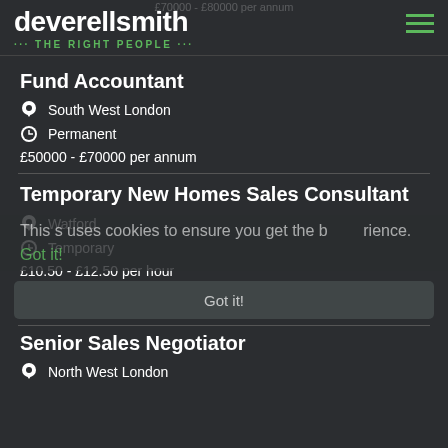deverellsmith · THE RIGHT PEOPLE ···
Fund Accountant
South West London
Permanent
£50000 - £70000 per annum
Temporary New Homes Sales Consultant
Watford
Temporary
£10.50 - £12.50 per hour
Senior Sales Negotiator
North West London